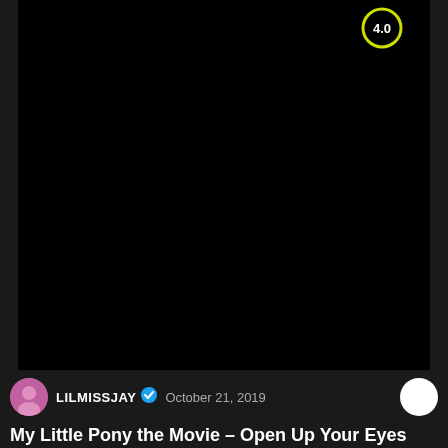[Figure (screenshot): Black video player area with a yellow circular rating badge showing '4.0' in the top right corner]
LILMISSJAY  October 21, 2019
My Little Pony the Movie – Open Up Your Eyes